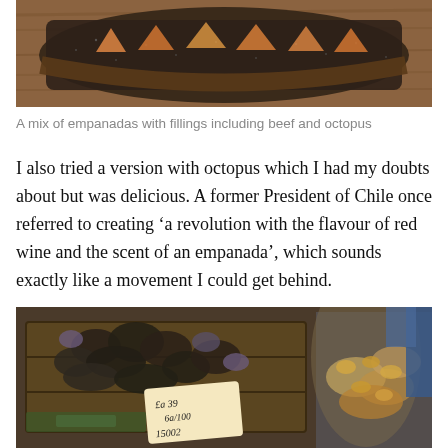[Figure (photo): Top portion of a photo showing a dark stone/ceramic platter with empanadas including orange-colored fillings, placed on a wooden board]
A mix of empanadas with fillings including beef and octopus
I also tried a version with octopus which I had my doubts about but was delicious. A former President of Chile once referred to creating ‘a revolution with the flavour of red wine and the scent of an empanada’, which sounds exactly like a movement I could get behind.
[Figure (photo): A market stall display of shellfish and seafood with a handwritten price sign showing prices, with various mollusks and seafood items visible]